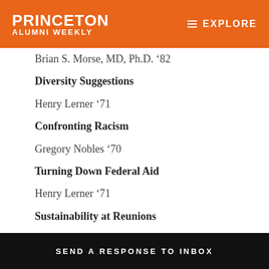PRINCETON ALUMNI WEEKLY | EXPLORE
Brian S. Morse, MD, Ph.D. ’82
Diversity Suggestions
Henry Lerner ’71
Confronting Racism
Gregory Nobles ’70
Turning Down Federal Aid
Henry Lerner ’71
Sustainability at Reunions
Veronica A. Diaz ’99
Sharing Princeton’s Bounty
Steve Ramsey ’69
SEND A RESPONSE TO INBOX